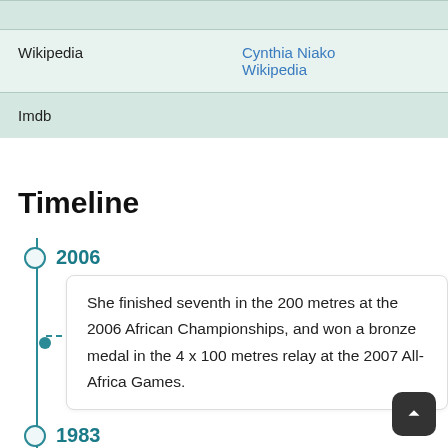| Source | Link |
| --- | --- |
| Wikipedia | Cynthia Niako Wikipedia |
| Imdb |  |
Timeline
2006
She finished seventh in the 200 metres at the 2006 African Championships, and won a bronze medal in the 4 x 100 metres relay at the 2007 All-Africa Games.
1983